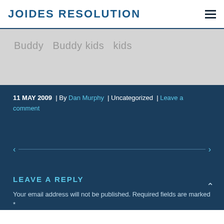JOIDES RESOLUTION
Buddy  Buddy kids  kids
11 MAY 2009  | By Dan Murphy | Uncategorized | Leave a comment
LEAVE A REPLY
Your email address will not be published. Required fields are marked *